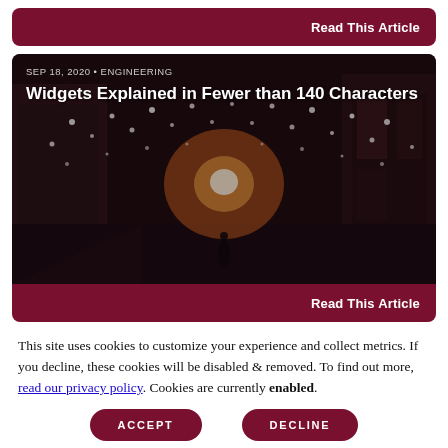Read This Article
[Figure (photo): Night street scene with string lights hanging overhead between buildings, warm glow from a light source in the distance, dark moody atmosphere]
SEP 18, 2020 • ENGINEERING
Widgets Explained in Fewer than 140 Characters
Read This Article
This site uses cookies to customize your experience and collect metrics. If you decline, these cookies will be disabled & removed. To find out more, read our privacy policy. Cookies are currently enabled.
ACCEPT
DECLINE